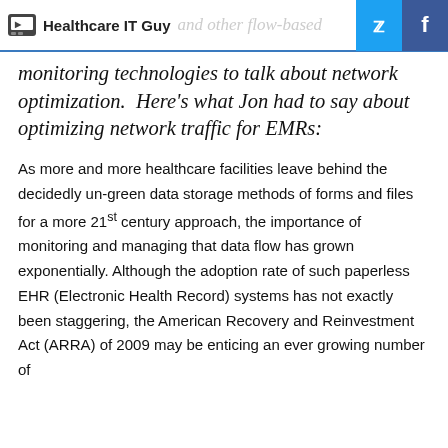Healthcare IT Guy
monitoring technologies to talk about network optimization.  Here's what Jon had to say about optimizing network traffic for EMRs:
As more and more healthcare facilities leave behind the decidedly un-green data storage methods of forms and files for a more 21st century approach, the importance of monitoring and managing that data flow has grown exponentially. Although the adoption rate of such paperless EHR (Electronic Health Record) systems has not exactly been staggering, the American Recovery and Reinvestment Act (ARRA) of 2009 may be enticing an ever growing number of